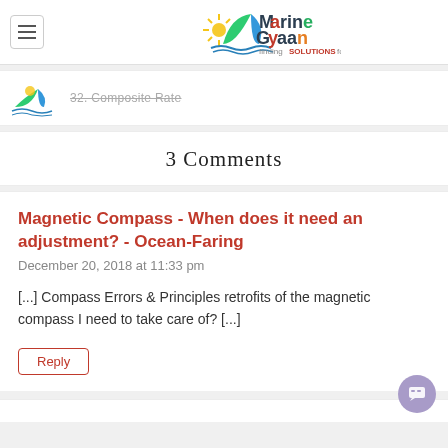Marine Gyaan - finding SOLUTIONS for you
32. Composite Rate
3 Comments
Magnetic Compass - When does it need an adjustment? - Ocean-Faring
December 20, 2018 at 11:33 pm
[...] Compass Errors & Principles retrofits of the magnetic compass I need to take care of? [...]
Reply